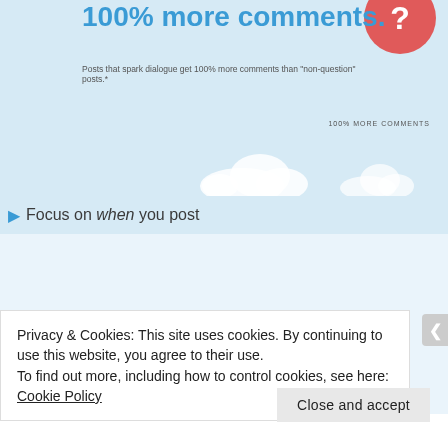100% more comments.
Posts that spark dialogue get 100% more comments than "non-question" posts.*
100% MORE COMMENTS
▶ Focus on when you post
[Figure (continuous-plot): Line chart showing Facebook activity by time of day, with a red area-fill curve peaking at 3PM. X-axis labels: 12AM, 6AM, NOON, 3PM, 6PM, 11PM. A callout box shows 'Peak activity 3PM'.]
FACEBOOK ACTIVITY BY TIME OF DAY*
On weekdays, Facebook activity (as defined by the number of posts and comments published per hour)
Privacy & Cookies: This site uses cookies. By continuing to use this website, you agree to their use.
To find out more, including how to control cookies, see here: Cookie Policy
Close and accept